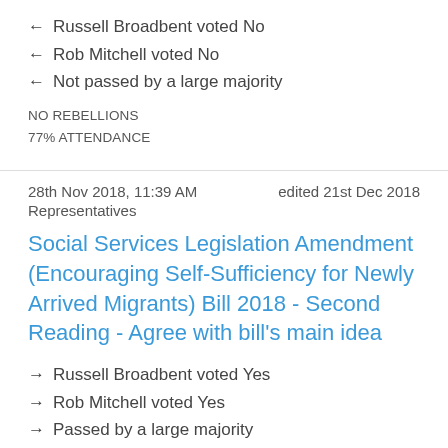← Russell Broadbent voted No
← Rob Mitchell voted No
← Not passed by a large majority
NO REBELLIONS
77% ATTENDANCE
28th Nov 2018, 11:39 AM    edited 21st Dec 2018
Representatives
Social Services Legislation Amendment (Encouraging Self-Sufficiency for Newly Arrived Migrants) Bill 2018 - Second Reading - Agree with bill's main idea
→ Russell Broadbent voted Yes
→ Rob Mitchell voted Yes
→ Passed by a large majority